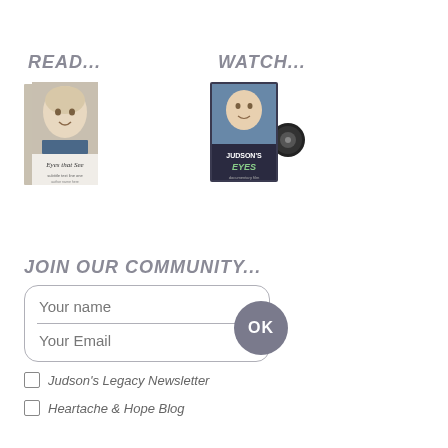READ...
[Figure (illustration): Book cover showing a child's face titled 'Eyes that See']
WATCH...
[Figure (illustration): DVD case for 'Judson's Eyes' documentary]
JOIN OUR COMMUNITY...
[Figure (other): Community sign-up form with Your name and Your Email fields and an OK button]
Judson's Legacy Newsletter
Heartache & Hope Blog